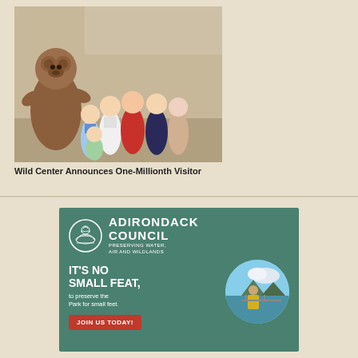[Figure (photo): Group photo of a family posing with a large brown bear mascot character indoors. Several adults and children are smiling at the camera.]
Wild Center Announces One-Millionth Visitor
[Figure (illustration): Adirondack Council advertisement banner on a teal/green background. Features the Adirondack Council logo (circle with nature imagery), text reading ADIRONDACK COUNCIL PRESERVING WATER, AIR AND WILDLANDS, large bold text IT'S NO SMALL FEAT, smaller text 'to preserve the Park for small feet.', a red JOIN US TODAY! button, and a circular photo of a child in a yellow life jacket looking out at a lake.]